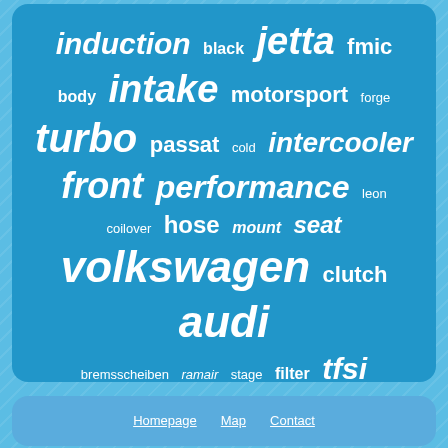[Figure (infographic): Tag cloud of automotive parts and car brand keywords on a blue rounded rectangle background. Words vary in size indicating frequency/importance. Words include: induction, black, jetta, fmic, body, intake, motorsport, forge, turbo, passat, cold, intercooler, front, performance, leon, coilover, hose, mount, seat, volkswagen, clutch, audi, bremsscheiben, ramair, stage, filter, tfsi, golf, brake, suspension, rear]
Homepage
Map
Contact